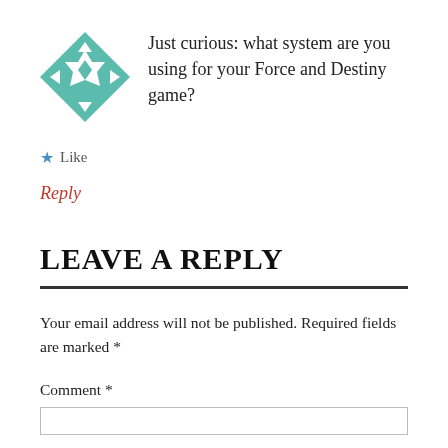[Figure (illustration): Teal/green quilt-pattern square avatar icon with geometric star design]
Just curious: what system are you using for your Force and Destiny game?
★ Like
Reply
LEAVE A REPLY
Your email address will not be published. Required fields are marked *
Comment *